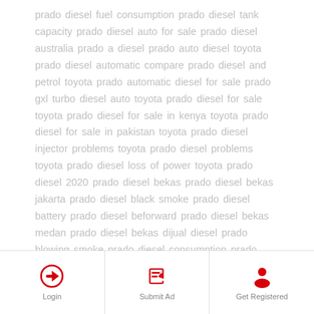prado diesel fuel consumption prado diesel tank capacity prado diesel auto for sale prado diesel australia prado a diesel prado auto diesel toyota prado diesel automatic compare prado diesel and petrol toyota prado automatic diesel for sale prado gxl turbo diesel auto toyota prado diesel for sale toyota prado diesel for sale in kenya toyota prado diesel for sale in pakistan toyota prado diesel injector problems toyota prado diesel problems toyota prado diesel loss of power toyota prado diesel 2020 prado diesel bekas prado diesel bekas jakarta prado diesel black smoke prado diesel battery prado diesel beforward prado diesel bekas medan prado diesel bekas dijual diesel prado blowing smoke prado diesel consumption prado diesel chip prado diesel carsales prado diesel cars
Login | Submit Ad | Get Registered